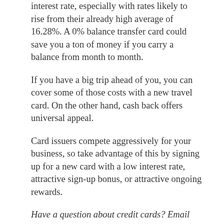interest rate, especially with rates likely to rise from their already high average of 16.28%. A 0% balance transfer card could save you a ton of money if you carry a balance from month to month.
If you have a big trip ahead of you, you can cover some of those costs with a new travel card. On the other hand, cash back offers universal appeal.
Card issuers compete aggressively for your business, so take advantage of this by signing up for a new card with a low interest rate, attractive sign-up bonus, or attractive ongoing rewards.
Have a question about credit cards? Email me at ted.rossman@bankrate.com and I'd be happy to help.
Tags: united states
Previous